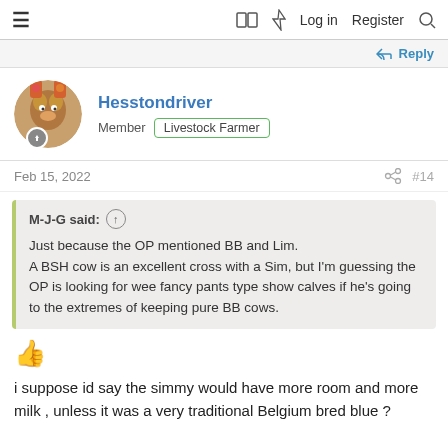≡  🔖 ⚡ Log in  Register  🔍
↩ Reply
Hesstondriver
Member  Livestock Farmer
Feb 15, 2022  #14
M-J-G said: ↑
Just because the OP mentioned BB and Lim.
A BSH cow is an excellent cross with a Sim, but I'm guessing the OP is looking for wee fancy pants type show calves if he's going to the extremes of keeping pure BB cows.
👍
i suppose id say the simmy would have more room and more milk , unless it was a very traditional Belgium bred blue ?